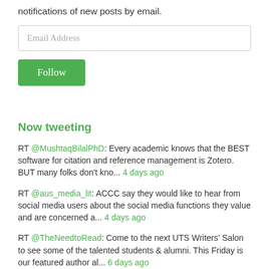notifications of new posts by email.
Email Address
Follow
Now tweeting
RT @MushtaqBilalPhD: Every academic knows that the BEST software for citation and reference management is Zotero. BUT many folks don't kno... 4 days ago
RT @aus_media_lit: ACCC say they would like to hear from social media users about the social media functions they value and are concerned a... 4 days ago
RT @TheNeedtoRead: Come to the next UTS Writers' Salon to see some of the talented students & alumni. This Friday is our featured author al... 6 days ago